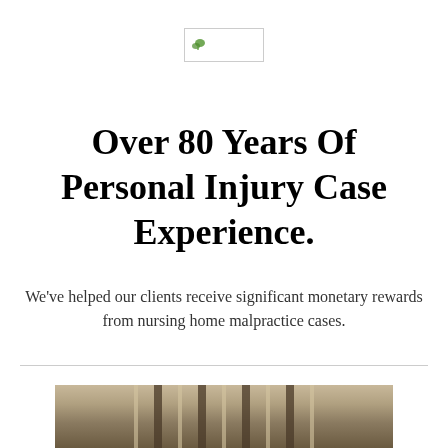[Figure (logo): Small logo image with a green leaf icon inside a rectangular bordered box]
Over 80 Years Of Personal Injury Case Experience.
We've helped our clients receive significant monetary rewards from nursing home malpractice cases.
[Figure (photo): Blurred photo of a hallway or corridor with vertical pillars or columns, warm tan and brown tones]